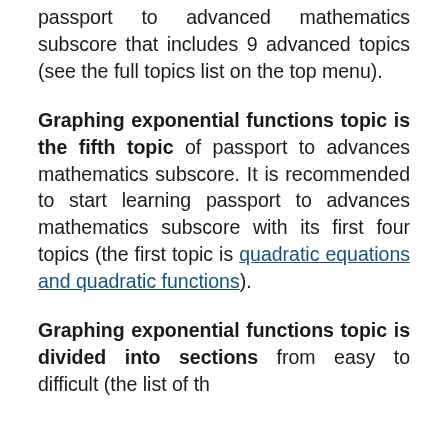passport to advanced mathematics subscore that includes 9 advanced topics (see the full topics list on the top menu).
Graphing exponential functions topic is the fifth topic of passport to advances mathematics subscore. It is recommended to start learning passport to advances mathematics subscore with its first four topics (the first topic is quadratic equations and quadratic functions).
Graphing exponential functions topic is divided into sections from easy to difficult (the list of the...